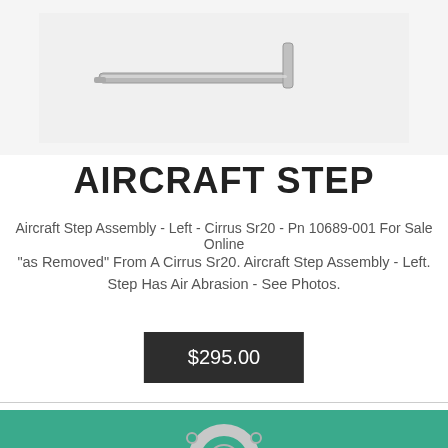[Figure (photo): Photo of a metal aircraft step rod/bracket against a white background]
AIRCRAFT STEP
Aircraft Step Assembly - Left - Cirrus Sr20 - Pn 10689-001 For Sale Online
"as Removed" From A Cirrus Sr20. Aircraft Step Assembly - Left. Step Has Air Abrasion - See Photos.
$295.00
[Figure (photo): Photo of a circular metal flange/gasket ring with holes on a teal/green background]